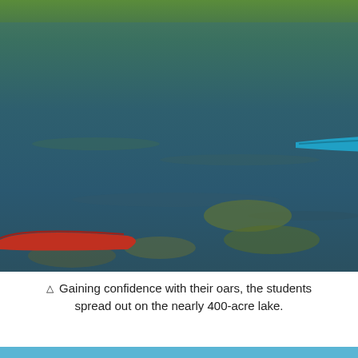[Figure (photo): Outdoor kayaking scene on a lake with three kayakers visible. In the foreground, a person in a light blue jacket with a red life vest paddles an orange kayak with a yellow paddle. In the middle distance, another person in a dark vest and black cap paddles a dark red/brown kayak with a yellow paddle. In the background, a person in a blue top paddles a turquoise/blue kayak. A red kayak is partially visible on the left. The lake water is dark blue-green with reflections. Green grass or vegetation is visible at the top edge.]
Gaining confidence with their oars, the students spread out on the nearly 400-acre lake.